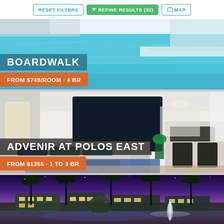RESET FILTERS | REFINE RESULTS (32) | MAP
[Figure (photo): Swimming pool photo with turquoise water]
BOARDWALK
FROM $749/ROOM • 4 BR
[Figure (photo): Apartment living room interior with sofa, TV, and dining area]
ADVENIR AT POLOS EAST
FROM $1355 • 1 TO 3 BR
[Figure (photo): Resort-style apartment complex at night with palm trees and pool]